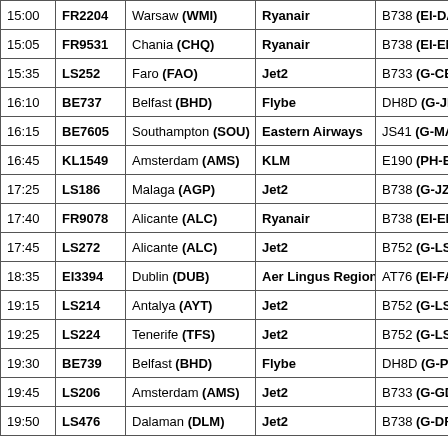| Time | Flight | Destination | Airline | Aircraft |
| --- | --- | --- | --- | --- |
| 15:00 | FR2204 | Warsaw (WMI) | Ryanair | B738 (EI-DAN) |
| 15:05 | FR9531 | Chania (CHQ) | Ryanair | B738 (EI-ENX) |
| 15:35 | LS252 | Faro (FAO) | Jet2 | B733 (G-CELY) |
| 16:10 | BE737 | Belfast (BHD) | Flybe | DH8D (G-JECX) |
| 16:15 | BE7605 | Southampton (SOU) | Eastern Airways | JS41 (G-MAJY) |
| 16:45 | KL1549 | Amsterdam (AMS) | KLM | E190 (PH-EZF) |
| 17:25 | LS186 | Malaga (AGP) | Jet2 | B738 (G-JZHH) |
| 17:40 | FR9078 | Alicante (ALC) | Ryanair | B738 (EI-ENW) |
| 17:45 | LS272 | Alicante (ALC) | Jet2 | B752 (G-LSAG) |
| 18:35 | EI3394 | Dublin (DUB) | Aer Lingus Regional | AT76 (EI-FAX) |
| 19:15 | LS214 | Antalya (AYT) | Jet2 | B752 (G-LSAH) |
| 19:25 | LS224 | Tenerife (TFS) | Jet2 | B752 (G-LSAI) |
| 19:30 | BE739 | Belfast (BHD) | Flybe | DH8D (G-PRPE) |
| 19:45 | LS206 | Amsterdam (AMS) | Jet2 | B733 (G-GDFN) |
| 19:50 | LS476 | Dalaman (DLM) | Jet2 | B738 (G-DRTT) |